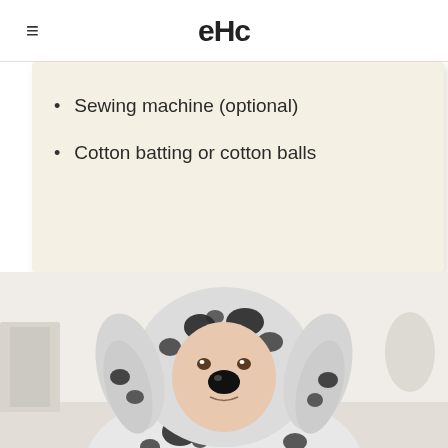≡  eHc
Sewing machine (optional)
Cotton batting or cotton balls
[Figure (photo): Person wearing a dalmatian dog costume hood with black spots and floppy ears, with a black painted nose, smiling at the camera in a bright room.]